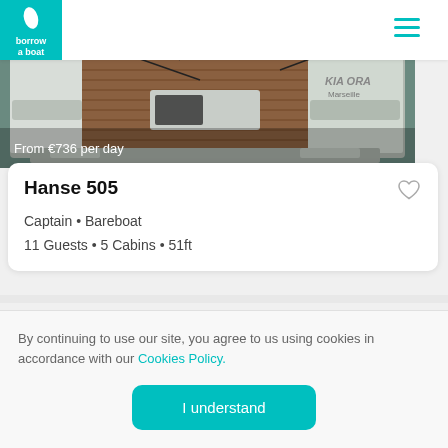borrow a boat – navigation bar with logo and hamburger menu
[Figure (photo): Rear cockpit view of a white sailboat named KIA ORA, showing teak deck, seating area, and rigging. Price overlay reads 'From €736 per day'.]
From €736 per day
Hanse 505
Captain • Bareboat
11 Guests • 5 Cabins • 51ft
By continuing to use our site, you agree to us using cookies in accordance with our Cookies Policy.
I understand